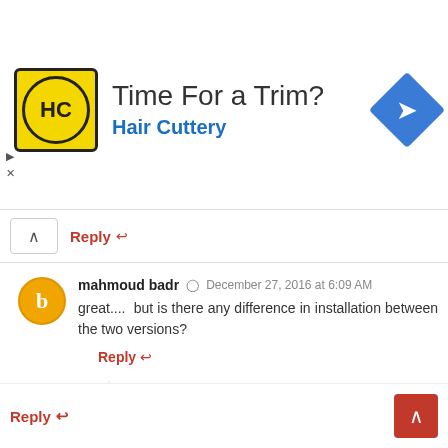[Figure (other): Advertisement banner for Hair Cuttery: logo with HC initials in yellow circle, text 'Time For a Trim?' and 'Hair Cuttery' in blue, blue diamond arrow icon on right]
Reply ↩
mahmoud badr  ⊙  December 27, 2016 at 6:09 AM
great....  but is there any difference in installation between the two versions?
Reply ↩
▼ Replies
Lineage OS ✏  ⊙  December 27, 2016 at 6:19 AM
no there will be no difference
Reply ↩